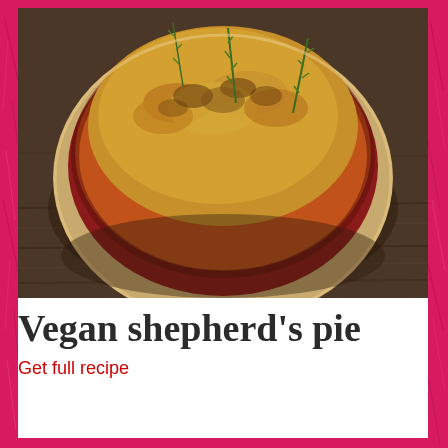[Figure (photo): Close-up photograph of a vegan shepherd's pie in a round ceramic baking dish, topped with golden-brown breadcrumbs and fresh rosemary sprigs, sitting on a rustic wooden surface. The filling is a rich orange-red color visible around the edges.]
Vegan shepherd's pie
Get full recipe